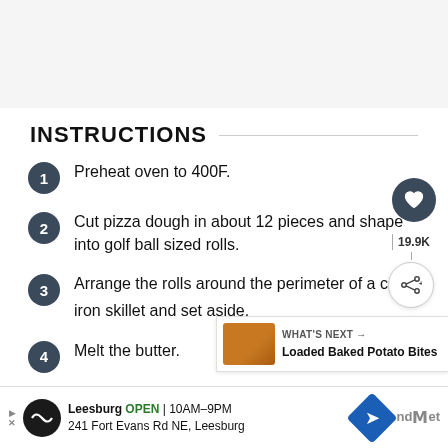INSTRUCTIONS
Preheat oven to 400F.
Cut pizza dough in about 12 pieces and shape into golf ball sized rolls.
Arrange the rolls around the perimeter of a cast iron skillet and set aside.
Melt the butter.
Add Italian Seasoning, dried parsley, powder, salt and pepper to the melted butter, mix until well combined.
WHAT'S NEXT → Loaded Baked Potato Bites
Leesburg OPEN 10AM–9PM 241 Fort Evans Rd NE, Leesburg